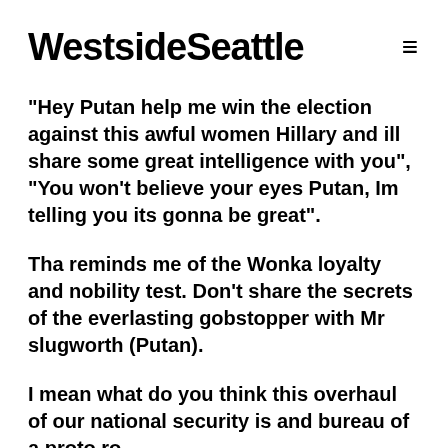Westside Seattle
"Hey Putan help me win the election against this awful women Hillary and ill share some great intelligence with you", "You won't believe your eyes Putan, Im telling you its gonna be great".
Tha reminds me of the Wonka loyalty and nobility test. Don't share the secrets of the everlasting gobstopper with Mr slugworth (Putan).
I mean what do you think this overhaul of our national security is and bureau of a proto ro...